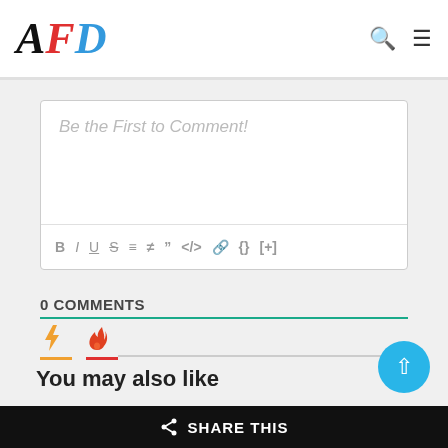AFD — site header with search and menu icons
Be the First to Comment!
[Figure (screenshot): Comment text editor toolbar with formatting buttons: B, I, U, S, ordered list, unordered list, blockquote, code, link, braces, [+]]
0 COMMENTS
[Figure (infographic): Comment sort tabs: lightning bolt tab (orange underline) and fire/flame tab (red underline) with teal divider line above]
You may also like
SHARE THIS